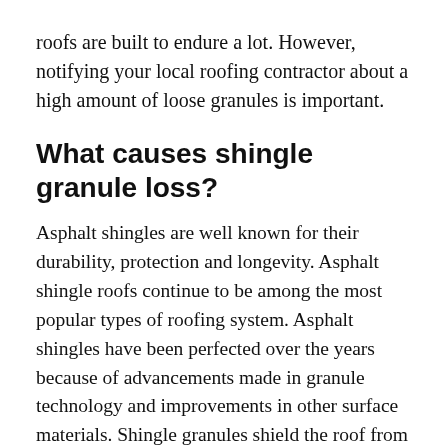roofs are built to endure a lot. However, notifying your local roofing contractor about a high amount of loose granules is important.
What causes shingle granule loss?
Asphalt shingles are well known for their durability, protection and longevity. Asphalt shingle roofs continue to be among the most popular types of roofing system. Asphalt shingles have been perfected over the years because of advancements made in granule technology and improvements in other surface materials. Shingle granules shield the roof from UV rays and increase its fire resistance. If